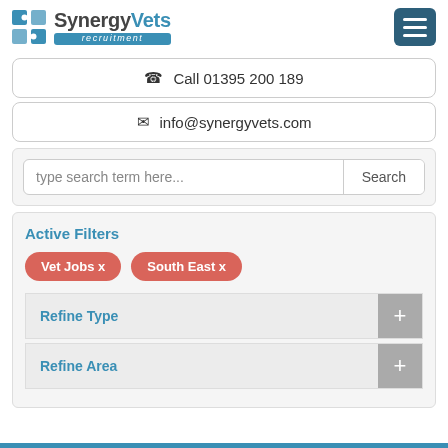[Figure (logo): SynergyVets recruitment logo with puzzle piece icon]
Call 01395 200 189
info@synergyvets.com
type search term here...
Active Filters
Vet Jobs x
South East x
Refine Type
Refine Area